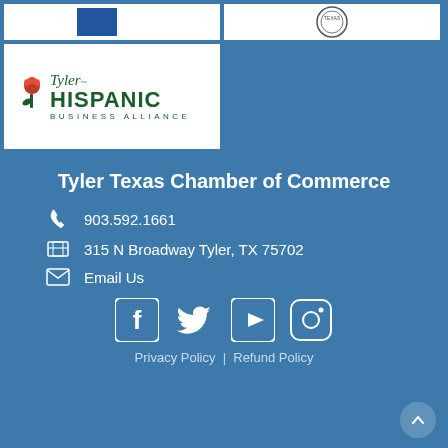[Figure (logo): Two organization logos at top: a blue badge logo on the left (partial) and a circular Texas seal/logo on the right (partial)]
[Figure (logo): Tyler Hispanic Business Alliance logo with rose graphic and green text]
Tyler Texas Chamber of Commerce
903.592.1661
315 N Broadway Tyler, TX 75702
Email Us
[Figure (infographic): Social media icons: Facebook, Twitter, YouTube, Instagram]
Privacy Policy  |  Refund Policy